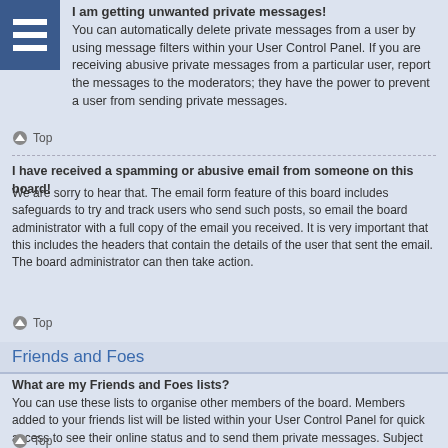[Figure (other): Navigation menu icon (hamburger icon) in top-left corner]
I am getting unwanted private messages! You can automatically delete private messages from a user by using message filters within your User Control Panel. If you are receiving abusive private messages from a particular user, report the messages to the moderators; they have the power to prevent a user from sending private messages.
Top
I have received a spamming or abusive email from someone on this board!
We are sorry to hear that. The email form feature of this board includes safeguards to try and track users who send such posts, so email the board administrator with a full copy of the email you received. It is very important that this includes the headers that contain the details of the user that sent the email. The board administrator can then take action.
Top
Friends and Foes
What are my Friends and Foes lists?
You can use these lists to organise other members of the board. Members added to your friends list will be listed within your User Control Panel for quick access to see their online status and to send them private messages. Subject to template support, posts from these users may also be highlighted. If you add a user to your foes list, any posts they make will be hidden by default.
Top